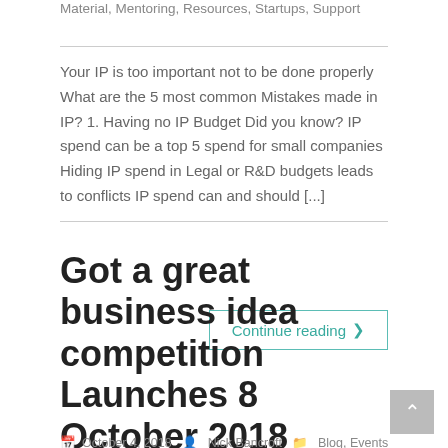Material, Mentoring, Resources, Startups, Support
Your IP is too important not to be done properly What are the 5 most common Mistakes made in IP? 1. Having no IP Budget Did you know? IP spend can be a top 5 spend for small companies Hiding IP spend in Legal or R&D budgets leads to conflicts IP spend can and should [...]
Continue reading ›
Got a great business idea competition Launches 8 October 2018
October 4, 2018   Nick Bancroft   Blog, Events